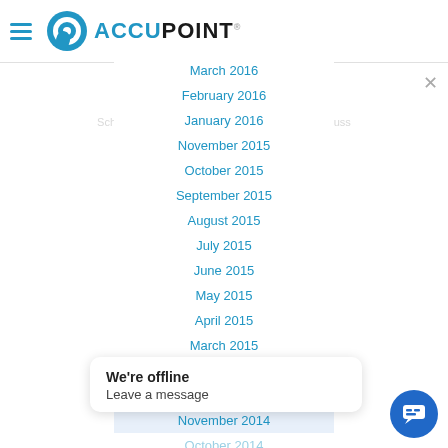[Figure (logo): Accupoint logo with hamburger menu icon on the left and the Accupoint branded text and icon to the right]
March 2016
February 2016
January 2016
November 2015
October 2015
September 2015
August 2015
July 2015
June 2015
May 2015
April 2015
March 2015
January 2015
December 2014
November 2014
October 2014
September 2014
July 2014
June 2014
GET IN TOUCH
Schedule an Accupoint discovery session to discuss your quality management needs.
We're offline
Leave a message